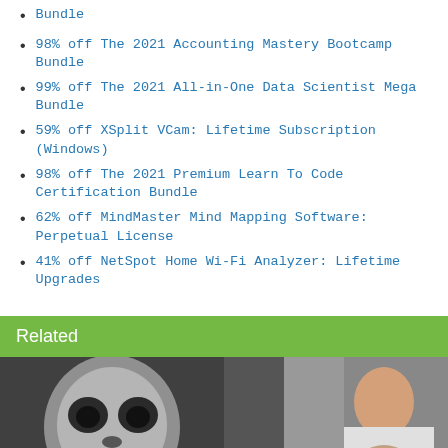Bundle
98% off The 2021 Accounting Mastery Bootcamp Bundle
99% off The 2021 All-in-One Data Scientist Mega Bundle
59% off XSplit VCam: Lifetime Subscription (Windows)
98% off The 2021 Premium Learn To Code Certification Bundle
62% off MindMaster Mind Mapping Software: Perpetual License
41% off NetSpot Home Wi-Fi Analyzer: Lifetime Upgrades
Related
[Figure (photo): Black and white photo of a person with skull face paint in a car]
[Figure (photo): Photo of a person with hands clasped wearing a white shirt]